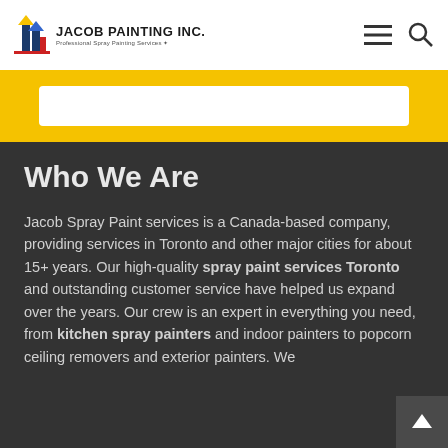JACOB PAINTING Inc. — Professional Spray Painting Services
Who We Are
Jacob Spray Paint services is a Canada-based company, providing services in Toronto and other major cities for about 15+ years. Our high-quality spray paint services Toronto and outstanding customer service have helped us expand over the years. Our crew is an expert in everything you need, from kitchen spray painters and indoor painters to popcorn ceiling removers and exterior painters. We